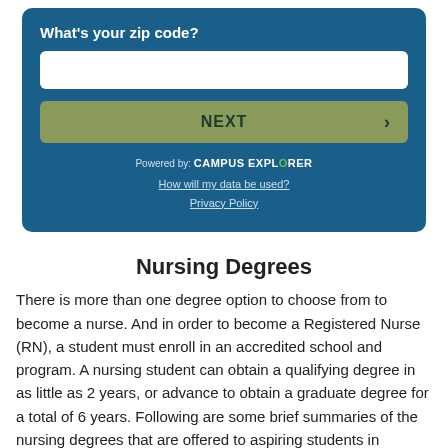What's your zip code?
NEXT
Powered by: CAMPUS EXPLORER
How will my data be used?
Privacy Policy
Nursing Degrees
There is more than one degree option to choose from to become a nurse. And in order to become a Registered Nurse (RN), a student must enroll in an accredited school and program. A nursing student can obtain a qualifying degree in as little as 2 years, or advance to obtain a graduate degree for a total of 6 years. Following are some brief summaries of the nursing degrees that are offered to aspiring students in